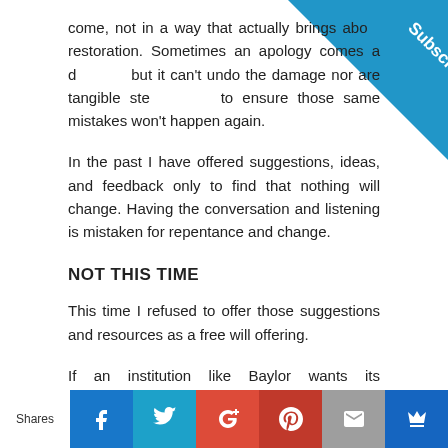come, not in a way that actually brings about restoration. Sometimes an apology comes a day late, but it can't undo the damage nor are tangible steps taken to ensure those same mistakes won't happen again.
In the past I have offered suggestions, ideas, and feedback only to find that nothing will change. Having the conversation and listening is mistaken for repentance and change.
NOT THIS TIME
This time I refused to offer those suggestions and resources as a free will offering.
If an institution like Baylor wants its administrators, faculty and staff to grow in cross-cultural communication
[Figure (other): Subscribe corner ribbon in blue]
Shares | Facebook | Twitter | Google+ | Pinterest | Email | Crown